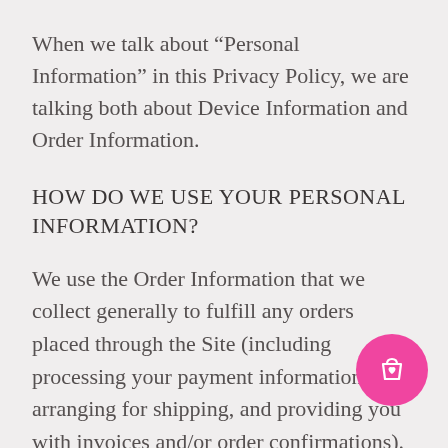When we talk about “Personal Information” in this Privacy Policy, we are talking both about Device Information and Order Information.
HOW DO WE USE YOUR PERSONAL INFORMATION?
We use the Order Information that we collect generally to fulfill any orders placed through the Site (including processing your payment information, arranging for shipping, and providing you with invoices and/or order confirmations). Additionally, we use this Order Information to:
Communicate with you;